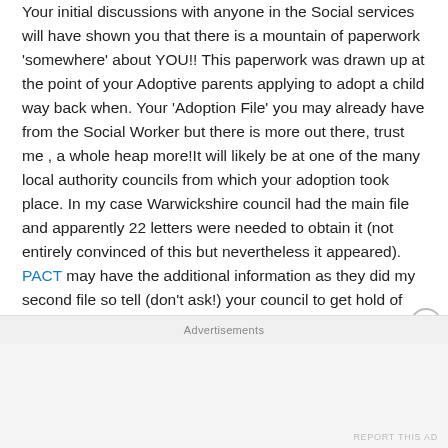Your initial discussions with anyone in the Social services will have shown you that there is a mountain of paperwork 'somewhere' about YOU!! This paperwork was drawn up at the point of your Adoptive parents applying to adopt a child way back when. Your 'Adoption File' you may already have from the Social Worker but there is more out there, trust me , a whole heap more!It will likely be at one of the many local authority councils from which your adoption took place. In my case Warwickshire council had the main file and apparently 22 letters were needed to obtain it (not entirely convinced of this but nevertheless it appeared). PACT may have the additional information as they did my second file so tell (don't ask!) your council to get hold of any paperwork they can pertaining to your adoption. Its
Advertisements